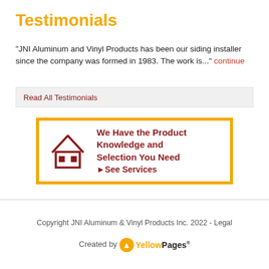Testimonials
"JNI Aluminum and Vinyl Products has been our siding installer since the company was formed in 1983. The work is..." continue
Read All Testimonials
[Figure (infographic): Yellow-bordered banner with dark red house icon and bold dark red text: 'We Have the Product Knowledge and Selection You Need' and '▶See Services']
Copyright JNI Aluminum & Vinyl Products Inc. 2022 - Legal
Created by YellowPages